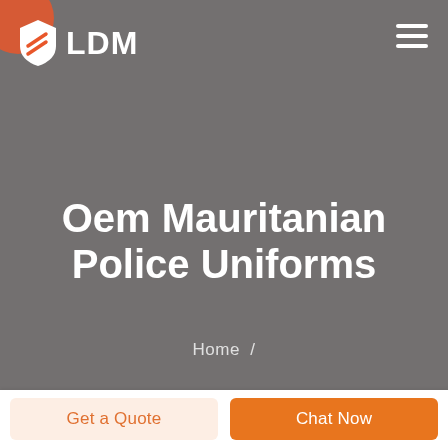[Figure (logo): LDM logo with shield icon containing red slash lines, white background shield shape, and bold white LDM text]
Oem Mauritanian Police Uniforms
Home /
Get a Quote
Chat Now